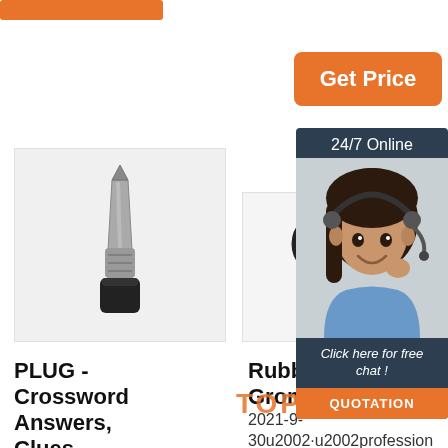[Figure (screenshot): Orange button partially visible at top left]
[Figure (screenshot): Get Price orange button]
[Figure (photo): Metal plug/pin tool product photo on grey background]
[Figure (photo): Rubber grommet with wire/loop tool photo]
[Figure (photo): Grey metallic product partially visible (third column)]
[Figure (screenshot): Dark panel with 24/7 Online text, customer service agent photo, Click here for free chat!, and QUOTATION button]
PLUG - Crossword Answers, Clues, Definition, Synonyms ...
Rubber Grommets
TU DR...
2021-9-30u2002·u2002professional rubber gromm ets manufacturer
• Never touch the plug with wet h ands. • Always p ull out by the plu